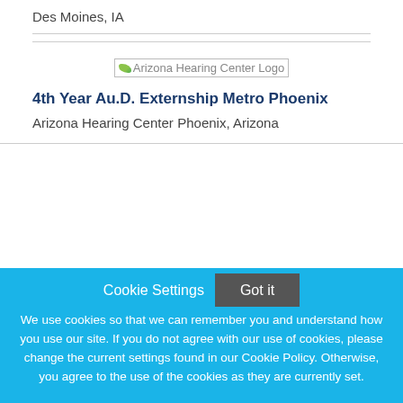Des Moines, IA
[Figure (logo): Arizona Hearing Center Logo — broken image placeholder showing alt text]
4th Year Au.D. Externship Metro Phoenix
Arizona Hearing Center
Phoenix, Arizona
Cookie Settings
Got it
We use cookies so that we can remember you and understand how you use our site. If you do not agree with our use of cookies, please change the current settings found in our Cookie Policy. Otherwise, you agree to the use of the cookies as they are currently set.